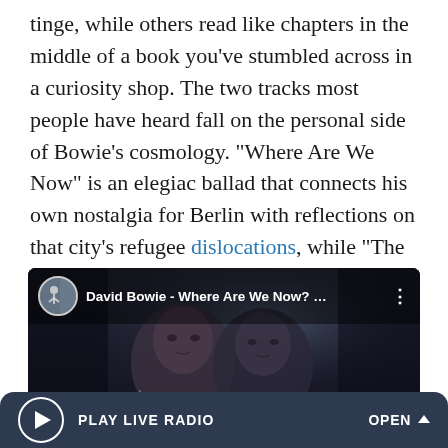tinge, while others read like chapters in the middle of a book you've stumbled across in a curiosity shop. The two tracks most people have heard fall on the personal side of Bowie's cosmology. "Where Are We Now" is an elegiac ballad that connects his own nostalgia for Berlin with reflections on that city's refugee dislocations, while "The Stars (Are Out Tonight)," with its wonderful Todd-Haynes-on-acid video (directed by Floria Sigismondi), is about fame, one of the Thin White Duke's lifelong obsessions.
[Figure (screenshot): YouTube video thumbnail for 'David Bowie - Where Are We Now?' showing two faces (a woman and David Bowie) in a dark, moody scene with a circular thumbnail of a figure walking in the top left corner.]
PLAY LIVE RADIO    OPEN